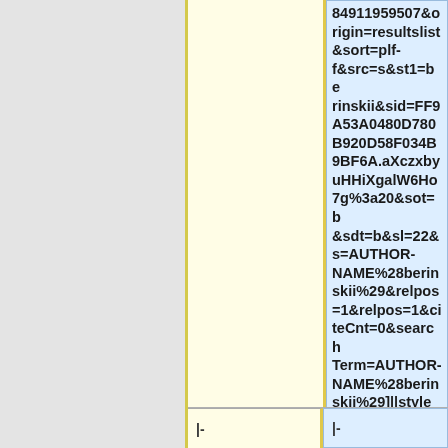84911959507&origin=resultslist&sort=plf-f&src=s&st1=berinskii&sid=FF9A53A0480D780B920D58F034B9BF6A.aXczxbyuHHiXgalW6Ho7g%3a20&sot=b&sdt=b&sl=22&s=AUTHOR-NAME%28berinskii%29&relpos=1&relpos=1&citeCnt=0&searchTerm=AUTHOR-NAME%28berinskii%29||style="background:#E7C39C"|'+'" ||
|-
|-